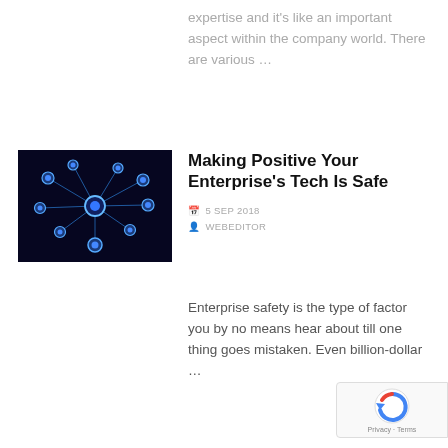expertise and it's like an important aspect within the company world. There are various …
[Figure (illustration): Network diagram with glowing blue nodes connected by lines on a dark background, depicting enterprise technology network]
Making Positive Your Enterprise's Tech Is Safe
5 SEP 2018
WEBEDITOR
Enterprise safety is the type of factor you by no means hear about till one thing goes mistaken. Even billion-dollar …
[Figure (logo): Google reCAPTCHA badge with Privacy and Terms links]